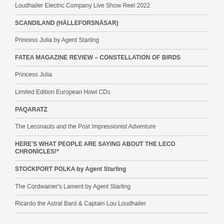Loudhailer Electric Company Live Show Reel 2022
SCANDILAND (HÄLLEFORSNÄSAR)
Princess Julia by Agent Starling
FATEA MAGAZINE REVIEW – CONSTELLATION OF BIRDS
Princess Julia
Limited Edition European Howl CDs
PAQARATZ
The Leconauts and the Post Impressionist Adventure
HERE'S WHAT PEOPLE ARE SAYING ABOUT THE LECO CHRONICLES!*
STOCKPORT POLKA by Agent Starling
The Cordwainer's Lament by Agent Starling
Ricardo the Astral Bard & Captain Lou Loudhailer